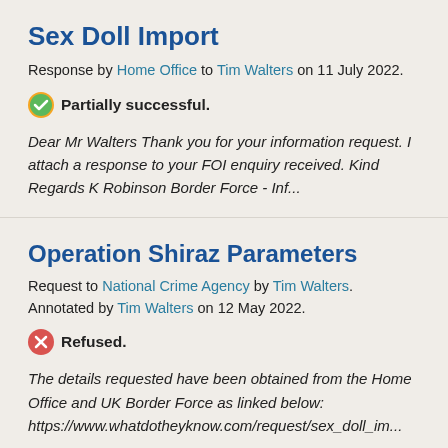Sex Doll Import
Response by Home Office to Tim Walters on 11 July 2022.
Partially successful.
Dear Mr Walters Thank you for your information request. I attach a response to your FOI enquiry received. Kind Regards K Robinson Border Force - Inf...
Operation Shiraz Parameters
Request to National Crime Agency by Tim Walters. Annotated by Tim Walters on 12 May 2022.
Refused.
The details requested have been obtained from the Home Office and UK Border Force as linked below: https://www.whatdotheyknow.com/request/sex_doll_im...